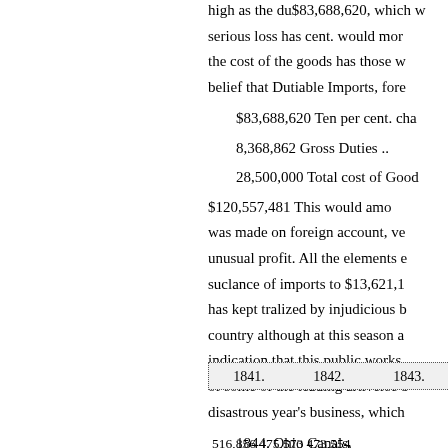high as the du$83,688,620, which w serious loss has cent. would mor the cost of the goods has those w belief that Dutiable Imports, fore
$83,688,620 Ten per cent. cha
8,368,862 Gross Duties ..
28,500,000 Total cost of Good
$120,557,481 This would amo was made on foreign account, ve unusual profit. All the elements e suclance of imports to $13,621,1 has kept tralized by injudicious b country although at this season a indication that this public works of some of the leading artiverse b disastrous year's business, which
1844. Ohio Canals,
| 1841. | 1842. | 1843. |
| --- | --- | --- |
| 516,856 | 475,573 | 473,554 |
516,856,475,573,473,554